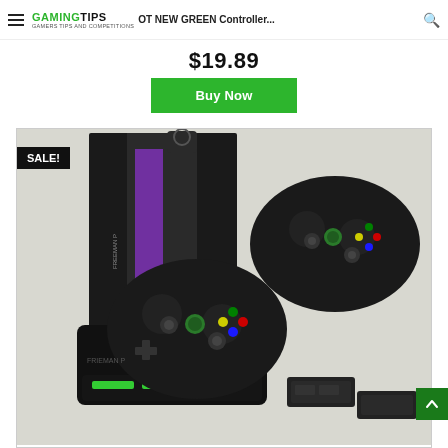GAMINGTIPS - GAMERS TIPS AND COMPETITIONS | HOT NEW GREEN Controller... [search]
$19.89
Buy Now
[Figure (photo): Product photo showing Xbox One controller dual charger station with two Xbox One controllers and battery packs. The charger has green LED lights. A black retail box with purple accent is visible in the background. A 'SALE!' badge is overlaid on the top-left corner of the image.]